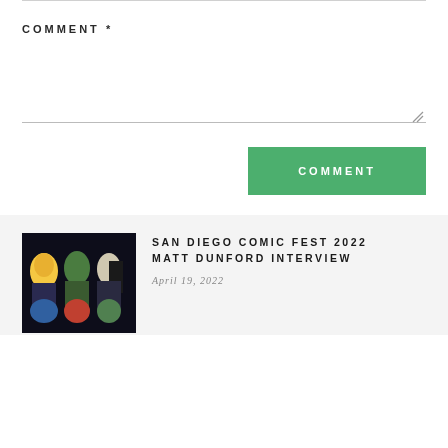COMMENT *
[Figure (screenshot): Comment text area input field with resize handle, followed by a green COMMENT submit button]
[Figure (photo): Comic book character illustrations on dark background - thumbnail for San Diego Comic Fest 2022 article]
SAN DIEGO COMIC FEST 2022 MATT DUNFORD INTERVIEW
April 19, 2022